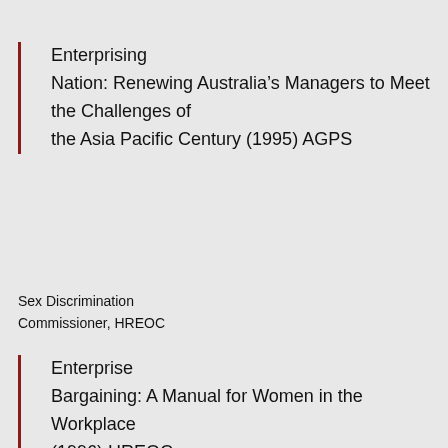Enterprising Nation: Renewing Australia's Managers to Meet the Challenges of the Asia Pacific Century (1995) AGPS
Sex Discrimination Commissioner, HREOC
Enterprise Bargaining: A Manual for Women in the Workplace (1996) HREOC Sexual Harassment: A Code of Practice (1996)